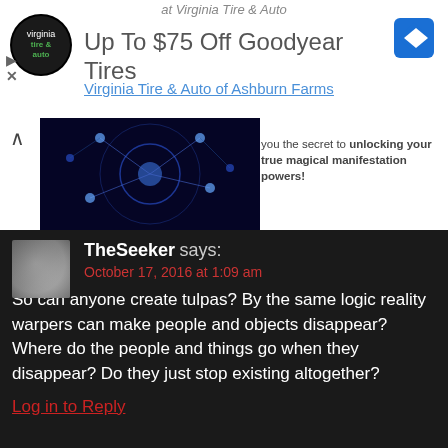[Figure (screenshot): Advertisement banner for Virginia Tire & Auto with Goodyear tires offer: 'Up To $75 Off Goodyear Tires', 'Virginia Tire & Auto of Ashburn Farms']
[Figure (photo): A glowing blue neural/cosmic network image on left, and text on right reading 'you the secret to unlocking your true magical manifestation powers!']
TheSeeker says: October 17, 2016 at 1:09 am
So can anyone create tulpas? By the same logic reality warpers can make people and objects disappear? Where do the people and things go when they disappear? Do they just stop existing altogether?
Log in to Reply
Xavier Remington says: October 20, 2016 at 2:51 pm
Anyone could theoretically create